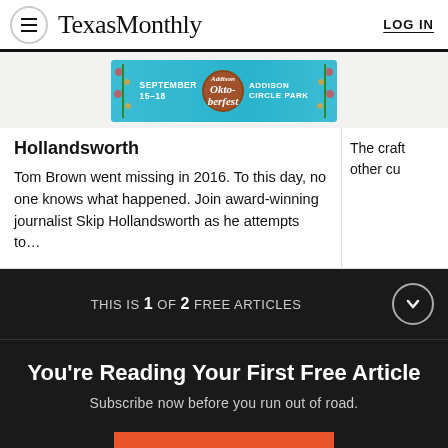Texas Monthly  LOG IN
[Figure (other): Addison Oktoberfest advertisement banner: SEPTEMBER 15-18, Addison Oktoberfest logo, ADDISON CIRCLE PARK]
Hollandsworth
Tom Brown went missing in 2016. To this day, no one knows what happened. Join award-winning journalist Skip Hollandsworth as he attempts to…
The craft other cu
THIS IS 1 OF 2 FREE ARTICLES
You're Reading Your First Free Article
Subscribe now before you run out of road.
SUBSCRIBE NOW
Already a subscriber? Log in